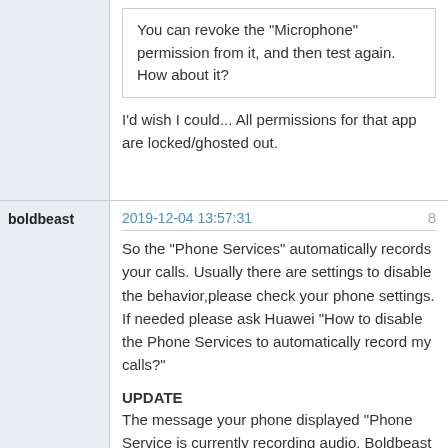You can revoke the "Microphone" permission from it, and then test again. How about it?
I'd wish I could... All permissions for that app are locked/ghosted out.
2019-12-04 13:57:31
8
boldbeast
So the "Phone Services" automatically records your calls. Usually there are settings to disable the behavior,please check your phone settings. If needed please ask Huawei "How to disable the Phone Services to automatically record my calls?"
UPDATE
The message your phone displayed "Phone Service is currently recording audio, Boldbeast Recorder can't record the call" is a wrong